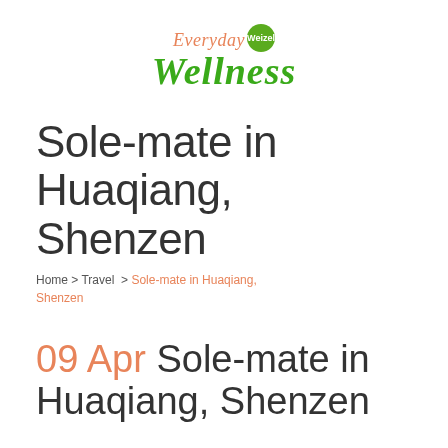[Figure (logo): Everyday Wellness with Weizel logo — 'Everyday' in italic orange serif, 'Weizel' in a green circular badge, 'Wellness' in large italic green serif bold font]
Sole-mate in Huaqiang, Shenzen
Home > Travel > Sole-mate in Huaqiang, Shenzen
09 Apr Sole-mate in Huaqiang, Shenzen